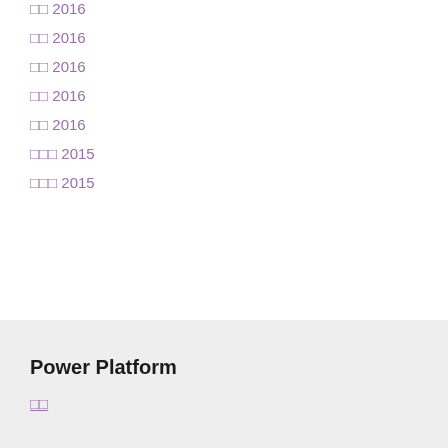□□ 2016
□□ 2016
□□ 2016
□□ 2016
□□ 2016
□□□ 2015
□□□ 2015
Power Platform
□□